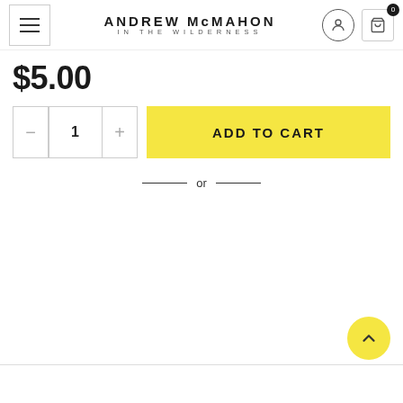ANDREW McMahon IN THE WILDERNESS
$5.00
ADD TO CART
— or —
[Figure (other): Back to top scroll button (yellow circle with upward chevron)]